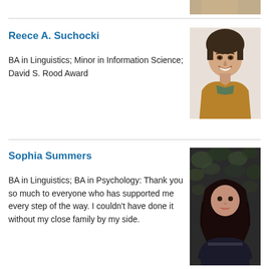[Figure (photo): Partial photo visible at top right corner of page]
Reece A. Suchocki
BA in Linguistics; Minor in Information Science; David S. Rood Award
[Figure (photo): Portrait photo of Reece A. Suchocki, a young man with brown hair wearing a mustard/brown jacket over a green shirt, smiling]
Sophia Summers
BA in Linguistics; BA in Psychology: Thank you so much to everyone who has supported me every step of the way. I couldn't have done it without my close family by my side.
[Figure (photo): Portrait photo of Sophia Summers, a young woman with long dark hair, standing in front of a dark leafy background, wearing dark clothing]